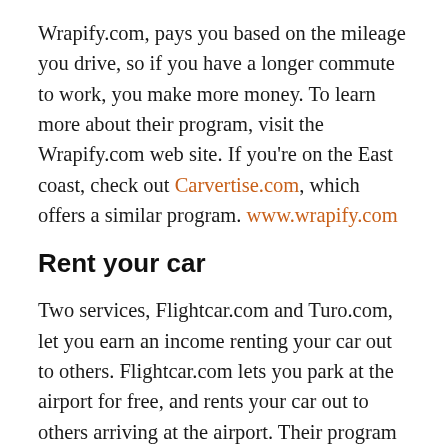Wrapify.com, pays you based on the mileage you drive, so if you have a longer commute to work, you make more money. To learn more about their program, visit the Wrapify.com web site. If you're on the East coast, check out Carvertise.com, which offers a similar program. www.wrapify.com
Rent your car
Two services, Flightcar.com and Turo.com, let you earn an income renting your car out to others. Flightcar.com lets you park at the airport for free, and rents your car out to others arriving at the airport. Their program allows you to actually earn money when you